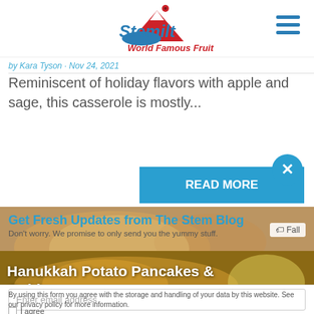[Figure (logo): Stemilt World Famous Fruit logo with ladybug and mountain graphic]
by Kara Tyson · Nov 24, 2021
Reminiscent of holiday flavors with apple and sage, this casserole is mostly...
READ MORE
Get Fresh Updates from The Stem Blog
Don't worry. We promise to only send you the yummy stuff.
[Figure (photo): Food photo showing a casserole dish with baked items]
Fall
Enter email address
[Figure (photo): Food photo showing potato pancakes with a lemon]
Hanukkah Potato Pancakes & Golden...
By using this form you agree with the storage and handling of your data by this website. See our privacy policy for more information.
I agree